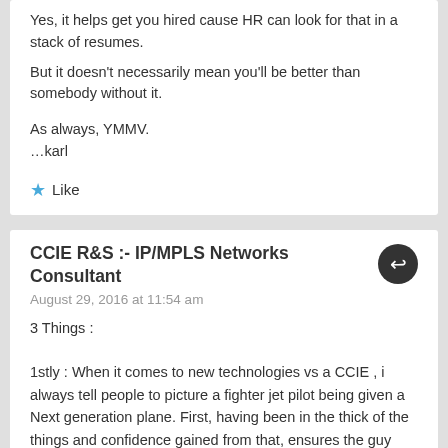Yes, it helps get you hired cause HR can look for that in a stack of resumes. But it doesn't necessarily mean you'll be better than somebody without it.
As always, YMMV.
…karl
Like
CCIE R&S :- IP/MPLS Networks Consultant
August 29, 2016 at 11:54 am
3 Things :
1stly : When it comes to new technologies vs a CCIE , i always tell people to picture a fighter jet pilot being given a Next generation plane. First, having been in the thick of the things and confidence gained from that, ensures the guy can